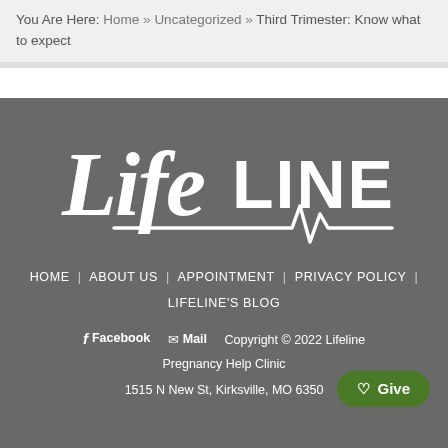You Are Here: Home » Uncategorized » Third Trimester: Know what to expect
[Figure (logo): LifeLine pregnancy help clinic logo in white on dark grey background, stylized script 'Life' followed by block 'LINE' with heartbeat EKG line underneath]
HOME | ABOUT US | APPOINTMENT | PRIVACY POLICY | LIFELINE'S BLOG
f Facebook  ✉ Mail  Copyright © 2022 Lifeline Pregnancy Help Clinic
1515 N New St, Kirksville, MO 6350
♡ Give